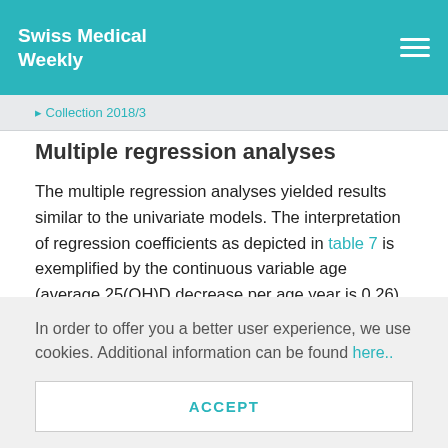Swiss Medical Weekly
▸ Collection 2018/3
Multiple regression analyses
The multiple regression analyses yielded results similar to the univariate models. The interpretation of regression coefficients as depicted in table 7 is exemplified by the continuous variable age (average 25(OH)D decrease per age year is 0.26) and the categorical variable season (25(OH)D is on ave…
In order to offer you a better user experience, we use cookies. Additional information can be found here..
ACCEPT